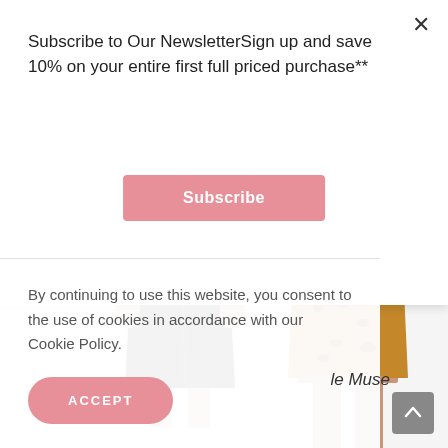Subscribe to Our NewsletterSign up and save 10% on your entire first full priced purchase**
Subscribe
[Figure (photo): Model wearing a black satin slip dress with spaghetti straps, cropped to show torso and partial skirt]
[Figure (photo): Model wearing a leopard print mini slip dress with lace trim neckline and black heeled sandals, full length shot]
By continuing to use this website, you consent to the use of cookies in accordance with our Cookie Policy.
ACCEPT
le Muse